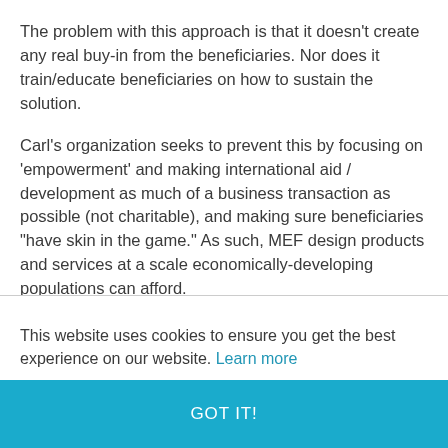The problem with this approach is that it doesn't create any real buy-in from the beneficiaries. Nor does it train/educate beneficiaries on how to sustain the solution.
Carl's organization seeks to prevent this by focusing on 'empowerment' and making international aid / development as much of a business transaction as possible (not charitable), and making sure beneficiaries "have skin in the game." As such, MEF design products and services at a scale economically-developing populations can afford.
This website uses cookies to ensure you get the best experience on our website. Learn more
GOT IT!